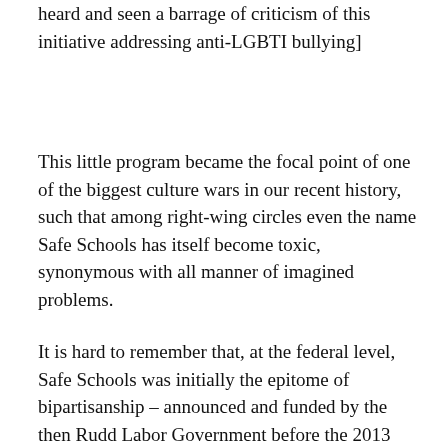heard and seen a barrage of criticism of this initiative addressing anti-LGBTI bullying]
This little program became the focal point of one of the biggest culture wars in our recent history, such that among right-wing circles even the name Safe Schools has itself become toxic, synonymous with all manner of imagined problems.
It is hard to remember that, at the federal level, Safe Schools was initially the epitome of bipartisanship – announced and funded by the then Rudd Labor Government before the 2013 election, before being launched under the Abbott Coalition Government in mid-